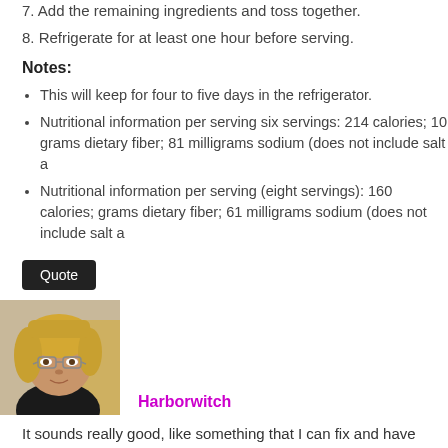7. Add the remaining ingredients and toss together.
8. Refrigerate for at least one hour before serving.
Notes:
This will keep for four to five days in the refrigerator.
Nutritional information per serving six servings: 214 calories; 10 grams dietary fiber; 81 milligrams sodium (does not include salt a…
Nutritional information per serving (eight servings): 160 calories; grams dietary fiber; 61 milligrams sodium (does not include salt a…
Quote
[Figure (photo): Profile photo of a woman with blonde hair and glasses]
Harborwitch
It sounds really good, like something that I can fix and have ready for "c…
Quote